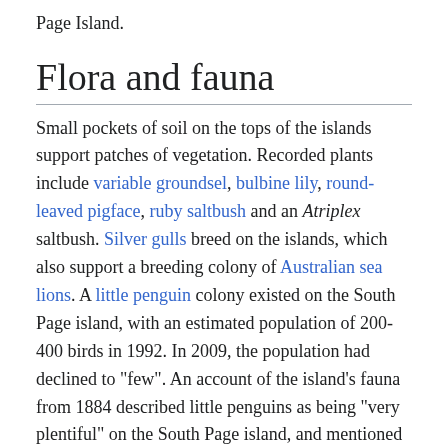Page Island.
Flora and fauna
Small pockets of soil on the tops of the islands support patches of vegetation. Recorded plants include variable groundsel, bulbine lily, round-leaved pigface, ruby saltbush and an Atriplex saltbush. Silver gulls breed on the islands, which also support a breeding colony of Australian sea lions. A little penguin colony existed on the South Page island, with an estimated population of 200-400 birds in 1992. In 2009, the population had declined to "few". An account of the island's fauna from 1884 described little penguins as being "very plentiful" on the South Page island, and mentioned the nesting site of a large eagle which was discovered at an "almost inaccessible" location.